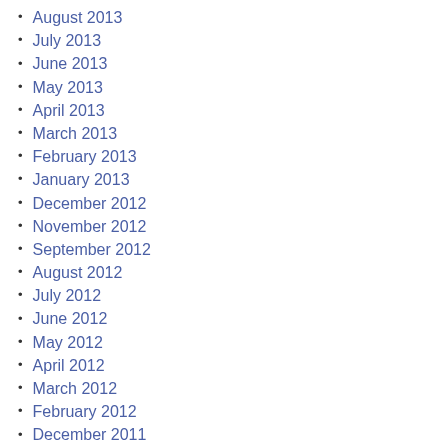August 2013
July 2013
June 2013
May 2013
April 2013
March 2013
February 2013
January 2013
December 2012
November 2012
September 2012
August 2012
July 2012
June 2012
May 2012
April 2012
March 2012
February 2012
December 2011